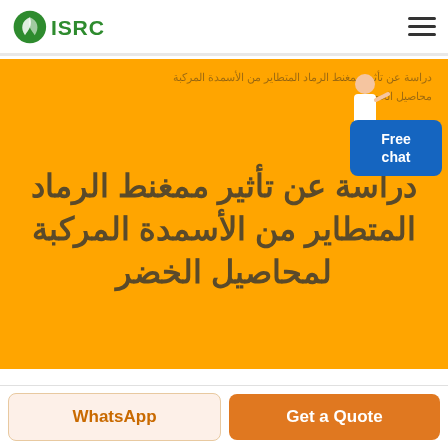ISRC logo and navigation menu
[Figure (logo): ISRC green leaf logo with text ISRC]
دراسة عن تأثير ممغنط الرماد المتطاير من الأسمدة المركبة محاصيل الخضر
دراسة عن تأثير ممغنط الرماد المتطاير من الأسمدة المركبة لمحاصيل الخضر
Free chat
WhatsApp
Get a Quote